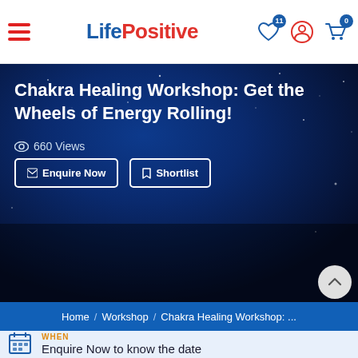LifePositive – navigation header with hamburger menu, logo, and icons (wishlist 11, user, cart 0)
Chakra Healing Workshop: Get the Wheels of Energy Rolling!
660 Views
Enquire Now
Shortlist
Home / Workshop / Chakra Healing Workshop: ...
WHEN
Enquire Now to know the date